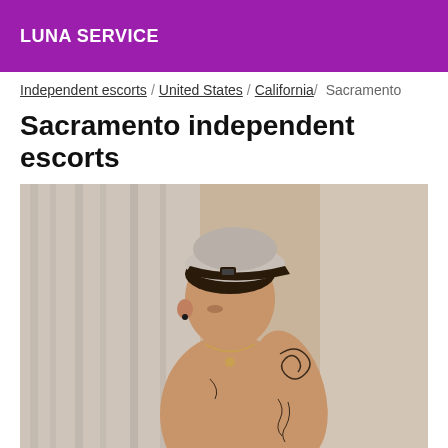LUNA SERVICE
Independent escorts / United States / California / Sacramento
Sacramento independent escorts
[Figure (photo): Young man with tattoos, wearing a grey snapback cap, shirtless, looking downward, with tattoos visible on arm and chest, standing in front of grey curtains]